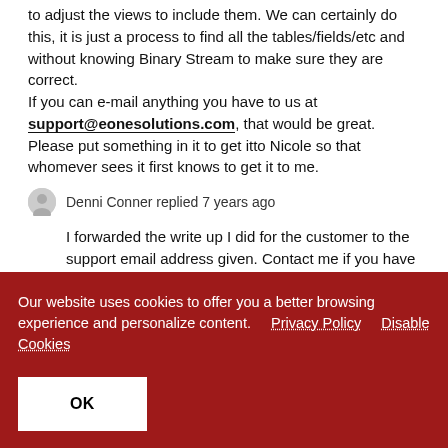to adjust the views to include them. We can certainly do this, it is just a process to find all the tables/fields/etc and without knowing Binary Stream to make sure they are correct. If you can e-mail anything you have to us at support@eonesolutions.com, that would be great. Please put something in it to get itto Nicole so that whomever sees it first knows to get it to me.
Denni Conner replied 7 years ago
I forwarded the write up I did for the customer to the support email address given. Contact me if you have any
Our website uses cookies to offer you a better browsing experience and personalize content. Privacy Policy Disable Cookies
OK